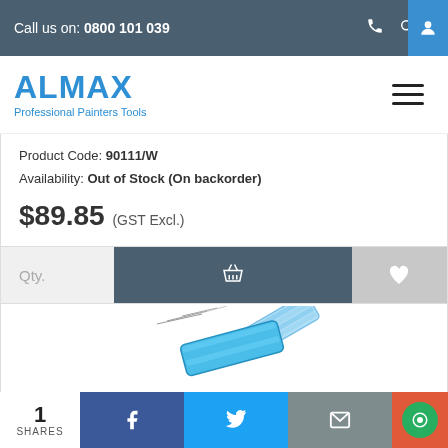Call us on: 0800 101 039
[Figure (logo): ALMAX Professional Painters Tools logo in blue]
Product Code: 90111/W
Availability: Out of Stock (On backorder)
$89.85 (GST Excl.)
Qty.
[Figure (illustration): Product illustration showing painters tools / masking tape rolls]
1 SHARES